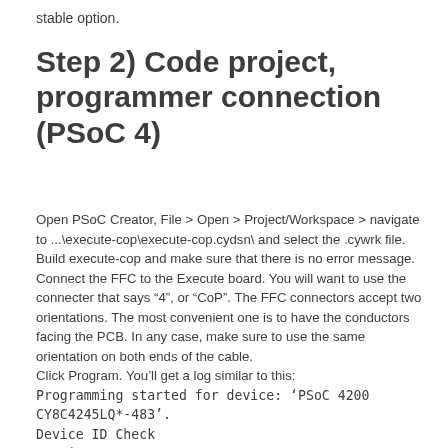stable option.
Step 2) Code project, programmer connection (PSoC 4)
Open PSoC Creator, File > Open > Project/Workspace > navigate to ...\execute-cop\execute-cop.cydsn\ and select the .cywrk file. Build execute-cop and make sure that there is no error message. Connect the FFC to the Execute board. You will want to use the connecter that says "4", or "CoP". The FFC connectors accept two orientations. The most convenient one is to have the conductors facing the PCB. In any case, make sure to use the same orientation on both ends of the cable.
Click Program. You'll get a log similar to this:
Programming started for device: 'PSoC 4200 CY8C4245LQ*-483'.
Device ID Check
Erasing...
Programming of Flash Starting...
Protecting...
Verify Checksum...